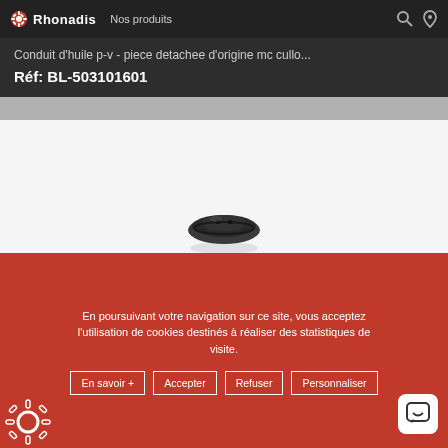Rhonadis  Nos produits
Conduit d'huile p-v - piece detachee d'origine mc cullo...
Réf: BL-503101601
[Figure (photo): Small black circular rubber part (oil conduit cap) with two small holes, viewed from above on white background]
En poursuivant votre navigation sur ce site, vous acceptez l'utilisation de cookies destinés à réaliser des statistiques de visite.
En savoir +  Accepter  Refuser  Personnaliser